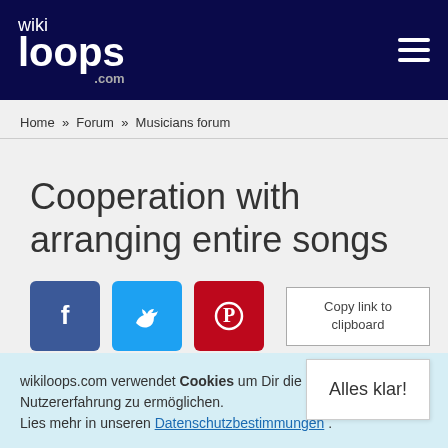wikiloops.com
Home » Forum » Musicians forum
Cooperation with arranging entire songs
[Figure (other): Social share buttons: Facebook (blue), Twitter (light blue), Pinterest (red), and a Copy link to clipboard button]
Back to forum
wikiloops.com verwendet Cookies um Dir die beste Nutzererfahrung zu ermöglichen. Lies mehr in unseren Datenschutzbestimmungen . Alles klar!